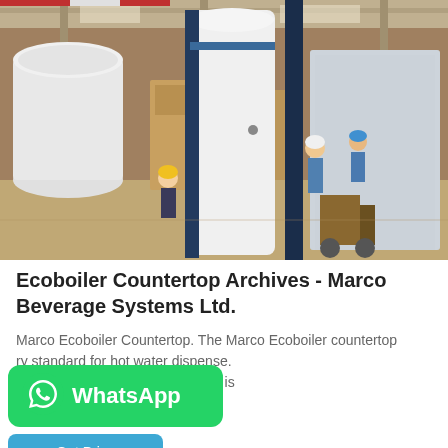[Figure (photo): Industrial warehouse/factory floor with workers in hard hats. In the foreground are large white cylindrical water heater/boiler units. A tall white cylindrical unit with a dark blue/navy vertical section is prominently displayed in the center. Workers are visible in the background. The space is a large industrial facility with overhead cranes.]
Ecoboiler Countertop Archives - Marco Beverage Systems Ltd.
Marco Ecoboiler Countertop. The Marco Ecoboiler countertop ry standard for hot water dispense. tton varieties the Ecoboiler range is catering, foodservice or office…